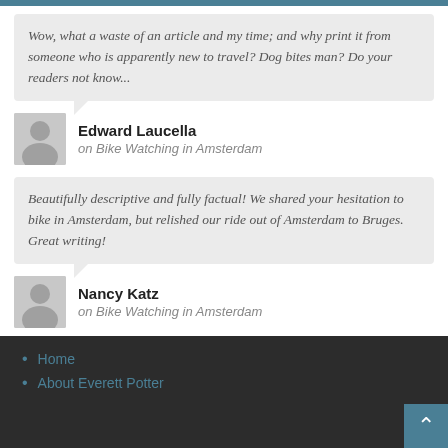Wow, what a waste of an article and my time; and why print it from someone who is apparently new to travel? Dog bites man? Do your readers not know...
Edward Laucella
on Bike Watching in Amsterdam
Beautifully descriptive and fully factual! We shared your hesitation to bike in Amsterdam, but relished our ride out of Amsterdam to Bruges. Great writing!
Nancy Katz
on Bike Watching in Amsterdam
Home
About Everett Potter